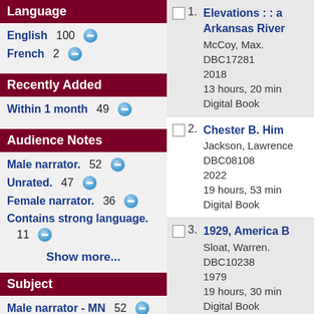Language
English 100
French 2
Recently Added
Within 1 month 49
Audience Notes
Male narrator. 52
Unrated. 47
Female narrator. 36
Contains strong language. 11
Show more...
Subject
Male narrator - MN 52
Short Book - SH 47
Unrated - UR 47
1. Elevations : : a Arkansas River
McCoy, Max.
DBC17281
2018
13 hours, 20 min
Digital Book
2. Chester B. Him
Jackson, Lawrence
DBC08108
2022
19 hours, 53 min
Digital Book
3. 1929, America B
Sloat, Warren.
DBC10238
1979
19 hours, 30 min
Digital Book